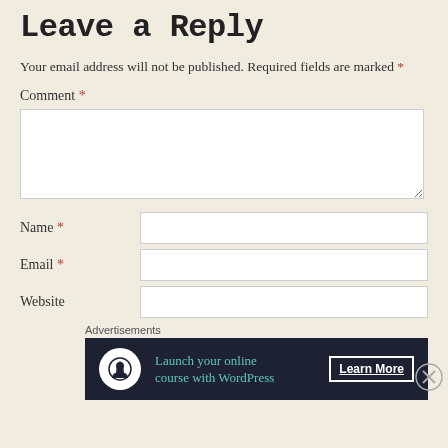Leave a Reply
Your email address will not be published. Required fields are marked *
Comment *
[Figure (screenshot): Comment text area input field, empty, with resize handle]
Name *
[Figure (screenshot): Name text input field, empty]
Email *
[Figure (screenshot): Email text input field, empty]
Website
[Figure (screenshot): Website text input field, empty]
Advertisements
[Figure (screenshot): Advertisement banner: Launch your online course with WordPress — Learn More]